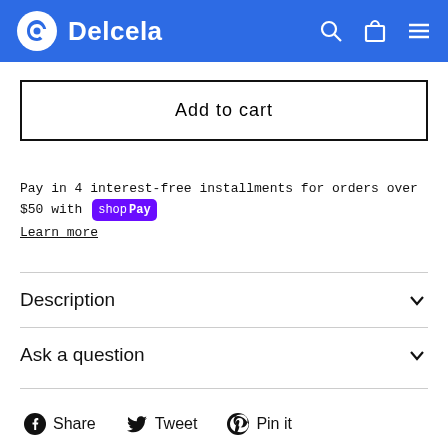[Figure (logo): Delcela brand header with blue background, circular logo icon, and navigation icons (search, cart, menu)]
Add to cart
Pay in 4 interest-free installments for orders over $50 with Shop Pay
Learn more
Description
Ask a question
Share  Tweet  Pin it